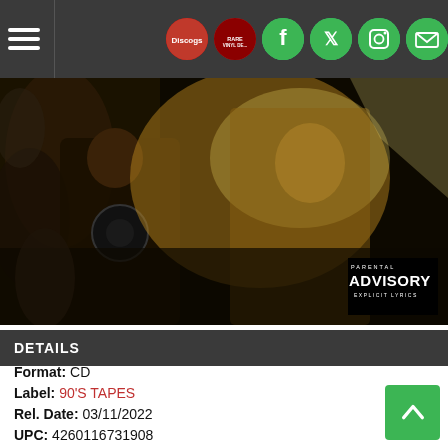Navigation bar with hamburger menu and social icons: Discogs, RDL, Facebook, Twitter, Instagram, Email
[Figure (photo): Album cover art showing a figure in dark clothing in a dramatic outdoor scene with foliage and dramatic lighting. A Parental Advisory Explicit Lyrics sticker is in the bottom right corner.]
DETAILS
Format: CD
Label: 90'S TAPES
Rel. Date: 03/11/2022
UPC: 4260116731908